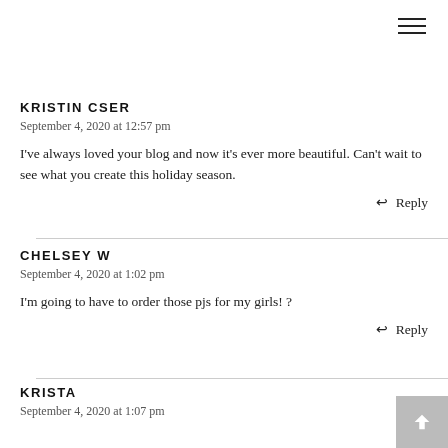KRISTIN CSER
September 4, 2020 at 12:57 pm
I've always loved your blog and now it's ever more beautiful. Can't wait to see what you create this holiday season.
Reply
CHELSEY W
September 4, 2020 at 1:02 pm
I'm going to have to order those pjs for my girls! ?
Reply
KRISTA
September 4, 2020 at 1:07 pm
Love the new site!! Looks great!